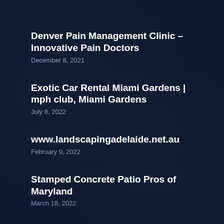Denver Pain Management Clinic – Innovative Pain Doctors
December 8, 2021
Exotic Car Rental Miami Gardens | mph club, Miami Gardens
July 8, 2022
www.landscapingadelaide.net.au
February 9, 2022
Stamped Concrete Patio Pros of Maryland
March 18, 2022